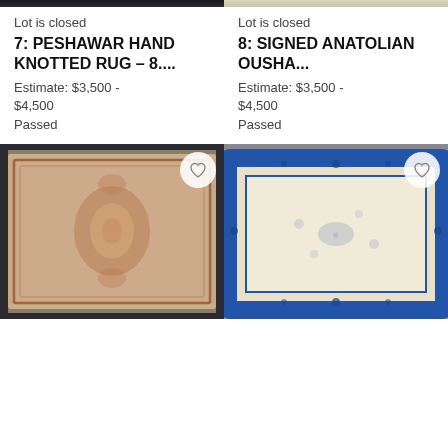[Figure (photo): Top portion of a dark rug (Peshawar hand knotted rug), cropped at top]
Lot is closed
7: PESHAWAR HAND KNOTTED RUG – 8....
Estimate: $3,500 - $4,500
Passed
[Figure (photo): Top portion of a beige/cream rug (Signed Anatolian Ousha...), cropped at top]
Lot is closed
8: SIGNED ANATOLIAN OUSHA...
Estimate: $3,500 - $4,500
Passed
[Figure (photo): Rose/beige Persian-style hand knotted rug with medallion design, photographed on dark floor]
[Figure (photo): Blue and cream Chinese-style rug with floral border and central medallion, photographed on grey floor]